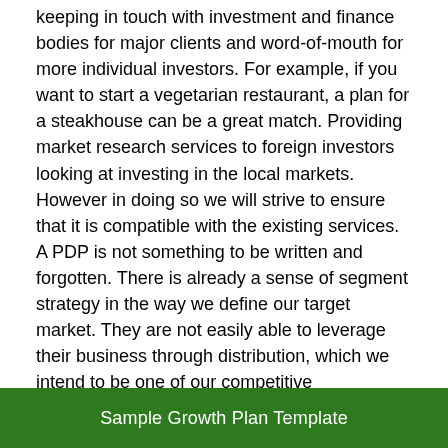keeping in touch with investment and finance bodies for major clients and word-of-mouth for more individual investors. For example, if you want to start a vegetarian restaurant, a plan for a steakhouse can be a great match. Providing market research services to foreign investors looking at investing in the local markets. However in doing so we will strive to ensure that it is compatible with the existing services. A PDP is not something to be written and forgotten. There is already a sense of segment strategy in the way we define our target market. They are not easily able to leverage their business through distribution, which we intend to be one of our competitive advantages. This is how you get a nicely built growth plan quickly without investing time and energy on deciding the format or layout. Rated 7/10 based on 11 review
Download
Sample Growth Plan Template